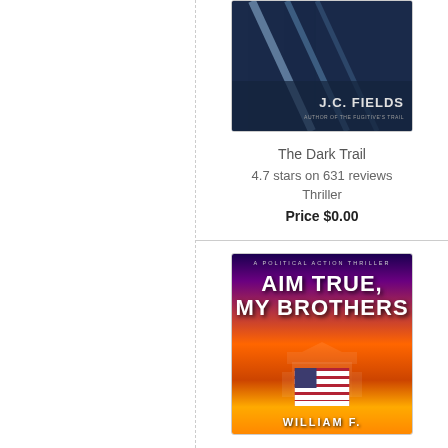[Figure (photo): Book cover for 'The Dark Trail' by J.C. Fields, showing dark atmospheric imagery with slash marks and author name]
The Dark Trail
4.7 stars on 631 reviews
Thriller
Price $0.00
[Figure (photo): Book cover for 'Aim True, My Brothers' by William F., described as A Political Action Thriller, showing the White House with fire and an American flag]